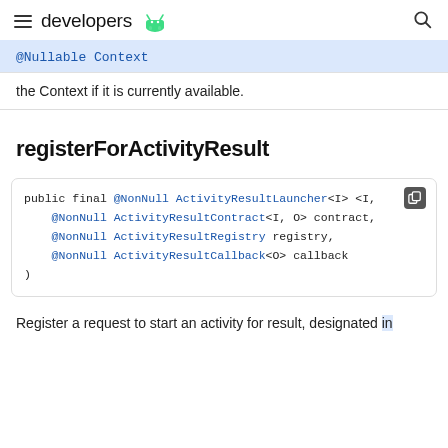developers [android logo]
@Nullable Context
the Context if it is currently available.
registerForActivityResult
public final @NonNull ActivityResultLauncher<I, @NonNull ActivityResultContract<I, O> contract, @NonNull ActivityResultRegistry registry, @NonNull ActivityResultCallback<O> callback )
Register a request to start an activity for result, designated